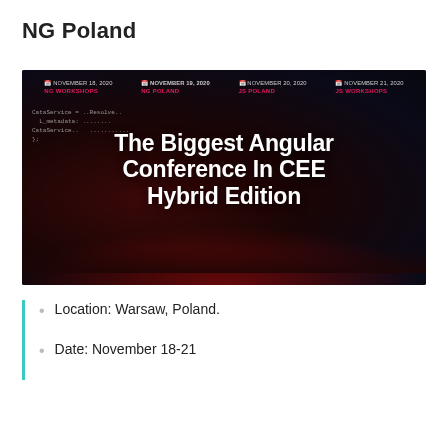NG Poland
[Figure (photo): Banner image for NG Poland conference showing 'The Biggest Angular Conference In CEE Hybrid Edition' with dates November 18-21, 2020 for NG Workshops, NG Poland, JS Poland, JS Workshops on a dark background with a stage/audience scene.]
Location: Warsaw, Poland.
Date: November 18-21